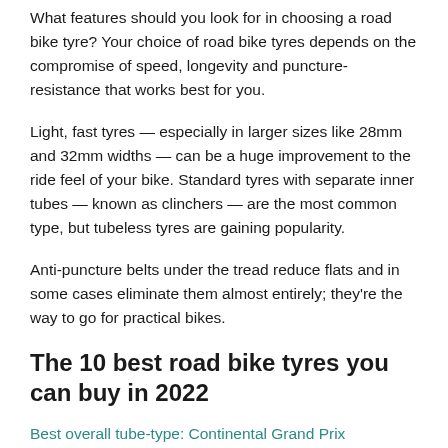What features should you look for in choosing a road bike tyre? Your choice of road bike tyres depends on the compromise of speed, longevity and puncture-resistance that works best for you.
Light, fast tyres — especially in larger sizes like 28mm and 32mm widths — can be a huge improvement to the ride feel of your bike. Standard tyres with separate inner tubes — known as clinchers — are the most common type, but tubeless tyres are gaining popularity.
Anti-puncture belts under the tread reduce flats and in some cases eliminate them almost entirely; they're the way to go for practical bikes.
The 10 best road bike tyres you can buy in 2022
Best overall tube-type: Continental Grand Prix